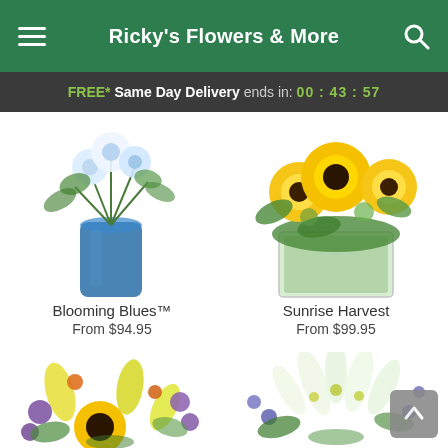Ricky's Flowers & More
FREE* Same Day Delivery ends in: 00 : 43 : 57
[Figure (photo): Blooming Blues flower arrangement in a blue vase with white and blue flowers]
Blooming Blues™
From $94.95
[Figure (photo): Sunrise Harvest flower arrangement with sunflowers in a square green glass vase]
Sunrise Harvest
From $99.95
[Figure (photo): Colorful mixed bouquet with sunflowers, yellow lilies, purple and orange flowers]
[Figure (photo): White lily arrangement with purple accent flowers in a low arrangement]